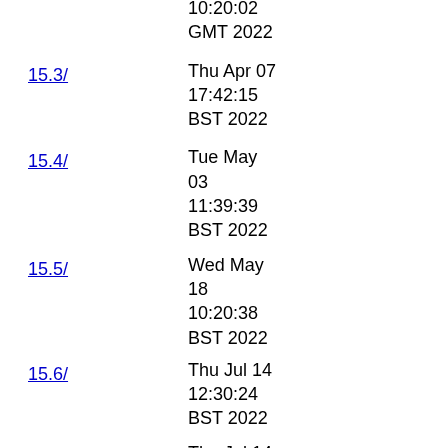10:20:02 GMT 2022
15.3/ - Thu Apr 07 17:42:15 BST 2022
15.4/ - Tue May 03 11:39:39 BST 2022
15.5/ - Wed May 18 10:20:38 BST 2022
15.6/ - Thu Jul 14 12:30:24 BST 2022
15.7/ - Thu Jul 14 18:10:33 BST 2022
15.8/ - Thu Jul 14 20:56:36 BST 2022